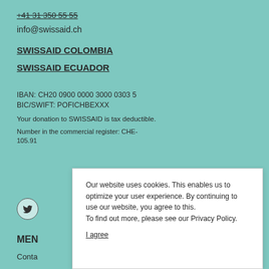+41 31 350 55 55
info@swissaid.ch
SWISSAID COLOMBIA
SWISSAID ECUADOR
IBAN: CH20 0900 0000 3000 0303 5
BIC/SWIFT: POFICHBEXXX
Your donation to SWISSAID is tax deductible.
Number in the commercial register: CHE-105.91
[Figure (logo): Twitter bird icon in circle]
MENU
Conta
Our website uses cookies. This enables us to optimize your user experience. By continuing to use our website, you agree to this. To find out more, please see our Privacy Policy.
I agree